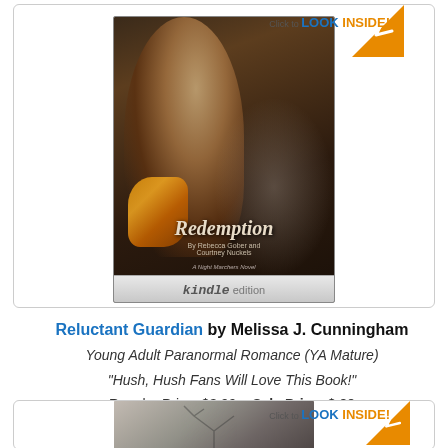[Figure (photo): Amazon book listing card for 'Redemption' showing book cover with young woman, kindle edition badge, and 'Click to LOOK INSIDE!' button]
Reluctant Guardian by Melissa J. Cunningham
Young Adult Paranormal Romance (YA Mature)
"Hush, Hush Fans Will Love This Book!"
Regular Price: $3.99    Sale Price: $.99
[Figure (photo): Partial Amazon book listing card showing 'Click to LOOK INSIDE!' button and top portion of second book cover]